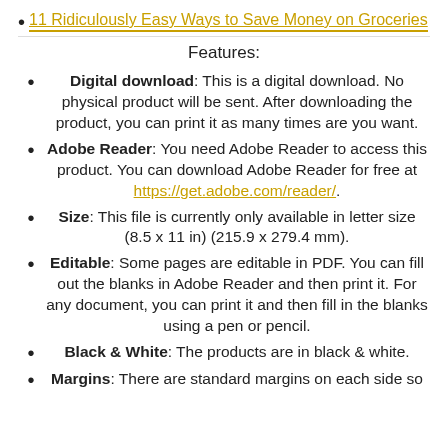11 Ridiculously Easy Ways to Save Money on Groceries
Features:
Digital download: This is a digital download. No physical product will be sent. After downloading the product, you can print it as many times are you want.
Adobe Reader: You need Adobe Reader to access this product. You can download Adobe Reader for free at https://get.adobe.com/reader/.
Size: This file is currently only available in letter size (8.5 x 11 in) (215.9 x 279.4 mm).
Editable: Some pages are editable in PDF. You can fill out the blanks in Adobe Reader and then print it. For any document, you can print it and then fill in the blanks using a pen or pencil.
Black & White: The products are in black & white.
Margins: There are standard margins on each side so